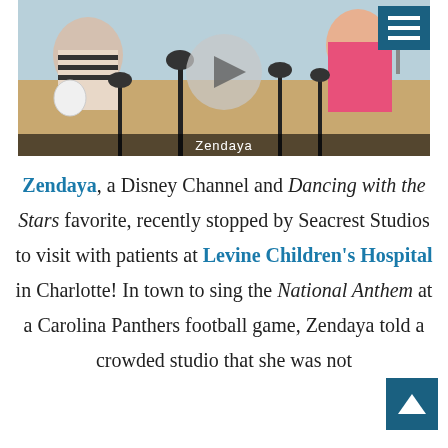[Figure (photo): Video screenshot of a radio/studio scene with microphones on a desk, multiple people visible. A large circular play button overlay is centered on the image. A dark teal hamburger menu icon is in the top-right corner. A dark caption bar at the bottom reads 'Zendaya'.]
Zendaya, a Disney Channel and Dancing with the Stars favorite, recently stopped by Seacrest Studios to visit with patients at Levine Children's Hospital in Charlotte! In town to sing the National Anthem at a Carolina Panthers football game, Zendaya told a crowded studio that she was not